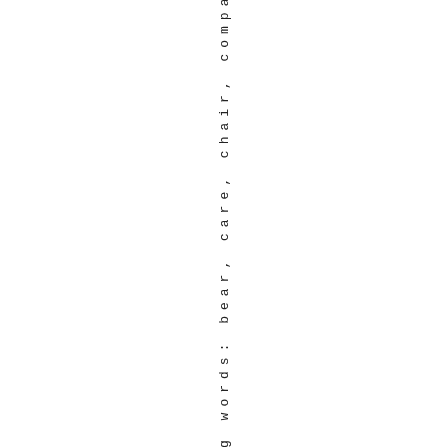g words: bear, care, chair, compar